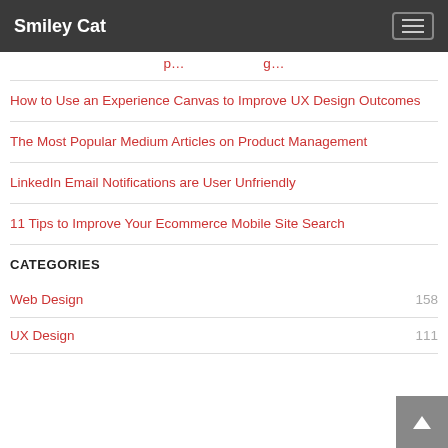Smiley Cat
How to Use an Experience Canvas to Improve UX Design Outcomes
The Most Popular Medium Articles on Product Management
LinkedIn Email Notifications are User Unfriendly
11 Tips to Improve Your Ecommerce Mobile Site Search
CATEGORIES
Web Design 158
UX Design 111